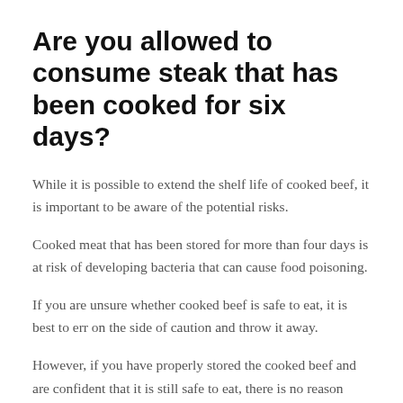Are you allowed to consume steak that has been cooked for six days?
While it is possible to extend the shelf life of cooked beef, it is important to be aware of the potential risks.
Cooked meat that has been stored for more than four days is at risk of developing bacteria that can cause food poisoning.
If you are unsure whether cooked beef is safe to eat, it is best to err on the side of caution and throw it away.
However, if you have properly stored the cooked beef and are confident that it is still safe to eat, there is no reason why you cannot enjoy a delicious steak even after six days. Just be sure to cook it well before consuming!